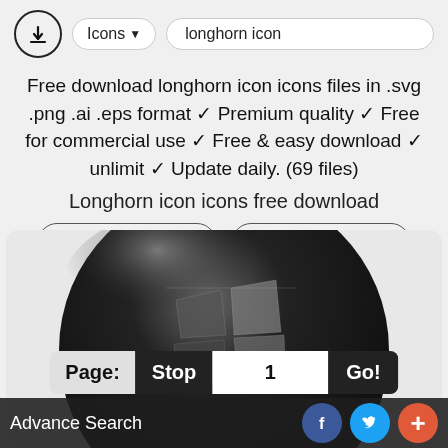Icons ▾   longhorn icon
Free download longhorn icon icons files in .svg .png .ai .eps format ✓ Premium quality ✓ Free for commercial use ✓ Free & easy download ✓ unlimit ✓ Update daily. (69 files)
Longhorn icon icons free download
Advanced search   Request a design
[Figure (illustration): Longhorn icon — a large dark spherical Windows-style logo icon in black/dark grey with metallic flag-like quadrant shapes inside, shown cropped in a white card.]
Page: Stop  1  Go!
Advance Search